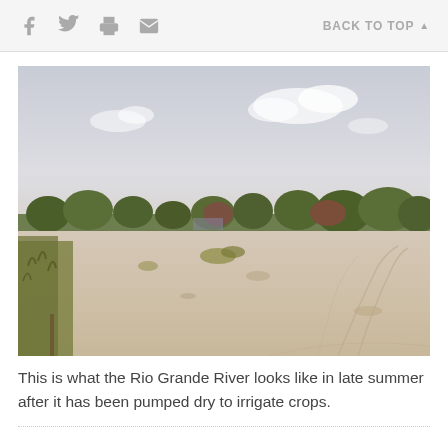f [facebook] [twitter] [print] [email]  BACK TO TOP ▲
[Figure (photo): A dry Rio Grande River bed in late summer showing sandy, parched riverbed with sparse vegetation, trees along the banks in the background, and a hazy sky with clouds.]
This is what the Rio Grande River looks like in late summer after it has been pumped dry to irrigate crops.